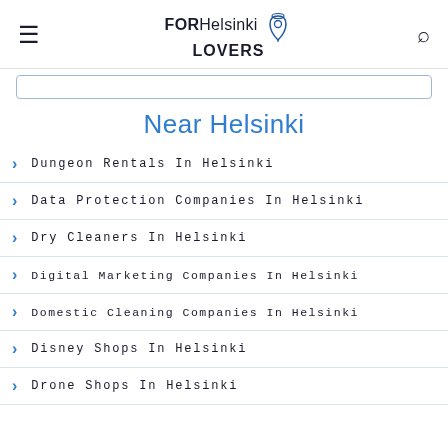FOR Helsinki LOVERS
Near Helsinki
Dungeon Rentals In Helsinki
Data Protection Companies In Helsinki
Dry Cleaners In Helsinki
Digital Marketing Companies In Helsinki
Domestic Cleaning Companies In Helsinki
Disney Shops In Helsinki
Drone Shops In Helsinki